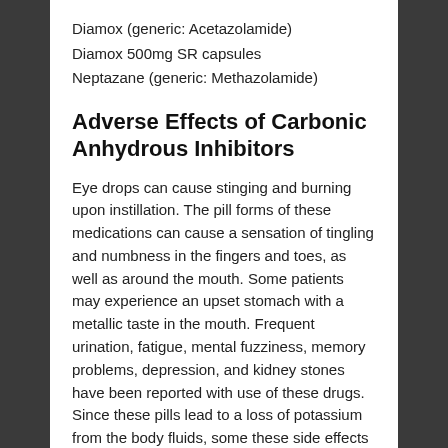Diamox (generic: Acetazolamide)
Diamox 500mg SR capsules
Neptazane (generic: Methazolamide)
Adverse Effects of Carbonic Anhydrous Inhibitors
Eye drops can cause stinging and burning upon instillation. The pill forms of these medications can cause a sensation of tingling and numbness in the fingers and toes, as well as around the mouth. Some patients may experience an upset stomach with a metallic taste in the mouth. Frequent urination, fatigue, mental fuzziness, memory problems, depression, and kidney stones have been reported with use of these drugs. Since these pills lead to a loss of potassium from the body fluids, some these side effects can be avoided by